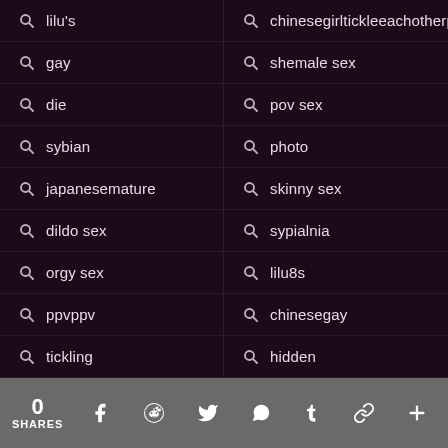lilu's
chinesegirltickleeachotherp
gay
shemale sex
die
pov sex
sybian
photo
japanesemature
skinny sex
dildo sex
sypialnia
orgy sex
lilu8s
ppvppv
chinesegay
tickling
hidden
0 SHARES